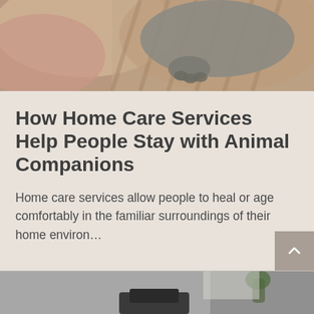[Figure (photo): Close-up photo of a cat resting on cushions/couch, paw visible]
How Home Care Services Help People Stay with Animal Companions
Home care services allow people to heal or age comfortably in the familiar surroundings of their home environ…
[Figure (photo): Blurred interior scene, possibly a desk or laptop in a room with a plant]